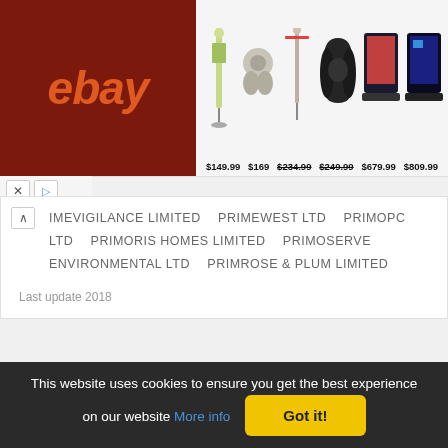[Figure (screenshot): eBay advertisement banner showing product images (vacuum, earbuds, Dyson, headphones, laptops) with prices: $149.99, $169, $234.99, $249.99, $679.99, $809.99]
IMEVIGILANCE LIMITED   PRIMEWEST LTD   PRIMOPC LTD   PRIMORIS HOMES LIMITED   PRIMOSERVE ENVIRONMENTAL LTD   PRIMROSE & PLUM LIMITED
Last update 2018
PRIMO AID LTD
DIRECTORS
This website uses cookies to ensure you get the best experience on our website More info Got it!